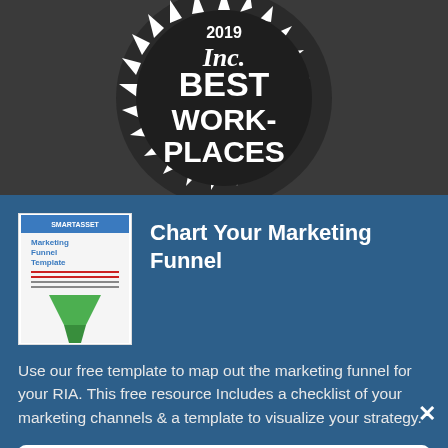[Figure (logo): Inc. 2019 Best Workplaces badge/seal on dark background — circular badge with triangular spikes around the perimeter, white text reading '2019', 'Inc.', 'BEST WORK-PLACES']
Chart Your Marketing Funnel
[Figure (illustration): Small thumbnail book cover for 'Marketing Funnel Template' showing a green funnel icon]
Use our free template to map out the marketing funnel for your RIA. This free resource Includes a checklist of your marketing channels & a template to visualize your strategy.
Download Now